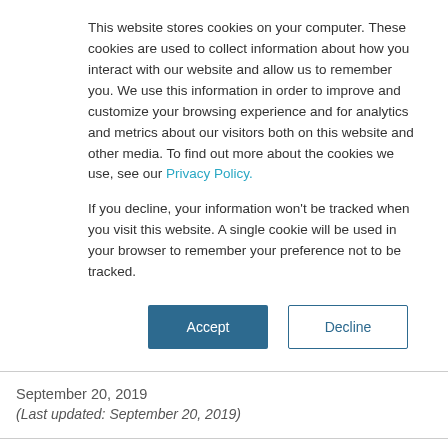This website stores cookies on your computer. These cookies are used to collect information about how you interact with our website and allow us to remember you. We use this information in order to improve and customize your browsing experience and for analytics and metrics about our visitors both on this website and other media. To find out more about the cookies we use, see our Privacy Policy.
If you decline, your information won't be tracked when you visit this website. A single cookie will be used in your browser to remember your preference not to be tracked.
Accept | Decline
September 20, 2019
(Last updated: September 20, 2019)
Earlier this week, the Chief Executive of the FCA, Andrew